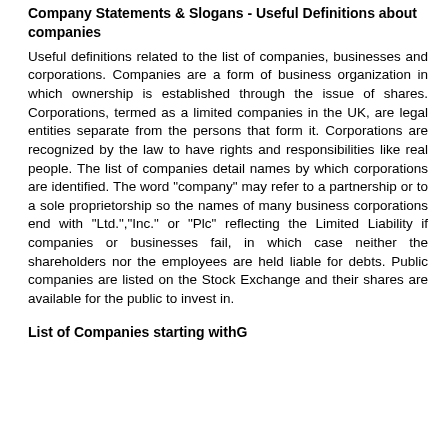Company Statements & Slogans - Useful Definitions about companies
Useful definitions related to the list of companies, businesses and corporations. Companies are a form of business organization in which ownership is established through the issue of shares. Corporations, termed as a limited companies in the UK, are legal entities separate from the persons that form it. Corporations are recognized by the law to have rights and responsibilities like real people. The list of companies detail names by which corporations are identified. The word "company" may refer to a partnership or to a sole proprietorship so the names of many business corporations end with "Ltd.","Inc." or "Plc" reflecting the Limited Liability if companies or businesses fail, in which case neither the shareholders nor the employees are held liable for debts. Public companies are listed on the Stock Exchange and their shares are available for the public to invest in.
List of Companies starting withG